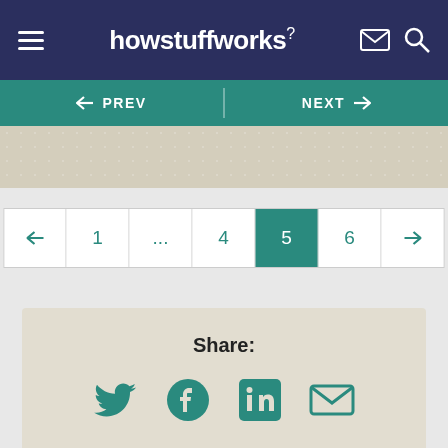howstuffworks
[Figure (screenshot): Navigation bar with PREV and NEXT buttons on teal background]
[Figure (screenshot): Beige patterned image strip]
[Figure (infographic): Pagination control showing pages: left arrow, 1, ..., 4, 5 (active/teal), 6, right arrow]
Share:
[Figure (infographic): Social share icons: Twitter, Facebook, LinkedIn, Email]
Citation